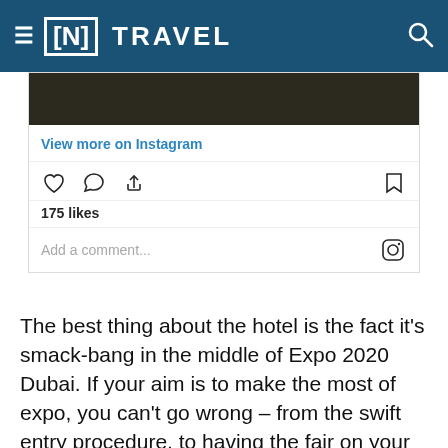≡ [N] TRAVEL
[Figure (screenshot): Instagram embed showing a dark image strip, 'View more on Instagram' link, action icons (heart, comment, share, bookmark), 175 likes, and Add a comment field with Instagram logo]
The best thing about the hotel is the fact it's smack-bang in the middle of Expo 2020 Dubai. If your aim is to make the most of expo, you can't go wrong – from the swift entry procedure, to having the fair on your doorstep, and being able to take in the entertainment at Al Wasl Plaza from your balcony, the hotel